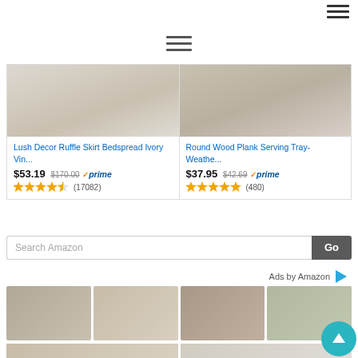[Figure (screenshot): Top-right hamburger menu icon (three horizontal lines)]
[Figure (screenshot): Center hamburger menu icon (three horizontal lines)]
[Figure (photo): Lush Decor Ruffle Skirt Bedspread product image - cream/ivory bedding]
Lush Decor Ruffle Skirt Bedspread Ivory Vin...
$53.19 $170.00 ✓prime (17082)
[Figure (photo): Round Wood Plank Serving Tray product image]
Round Wood Plank Serving Tray-Weathe...
$37.95 $42.69 ✓prime (480)
Search Amazon
Ads by Amazon
[Figure (photo): Four product photos in a grid: decorative tray, birdhouse, candle/perfume tray, candle on shelf. Below: large photo of arrangement with frame and flowers, and a photo of white pitcher with greenery.]